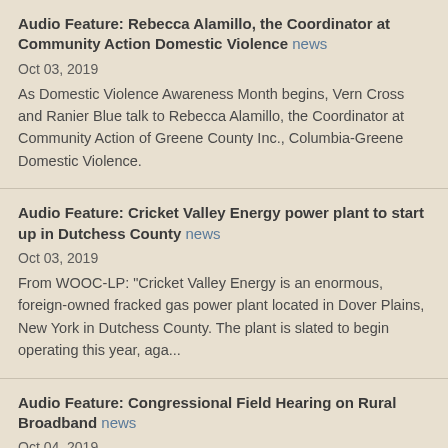Audio Feature: Rebecca Alamillo, the Coordinator at Community Action Domestic Violence news
Oct 03, 2019
As Domestic Violence Awareness Month begins, Vern Cross and Ranier Blue talk to Rebecca Alamillo, the Coordinator at Community Action of Greene County Inc., Columbia-Greene Domestic Violence.
Audio Feature: Cricket Valley Energy power plant to start up in Dutchess County news
Oct 03, 2019
From WOOC-LP: "Cricket Valley Energy is an enormous, foreign-owned fracked gas power plant located in Dover Plains, New York in Dutchess County. The plant is slated to begin operating this year, aga...
Audio Feature: Congressional Field Hearing on Rural Broadband news
Oct 04, 2019